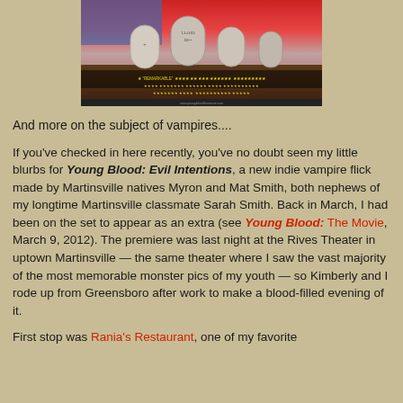[Figure (photo): Movie poster for a vampire film showing gravestones against a red and blue background with yellow text credits at the bottom]
And more on the subject of vampires....
If you've checked in here recently, you've no doubt seen my little blurbs for Young Blood: Evil Intentions, a new indie vampire flick made by Martinsville natives Myron and Mat Smith, both nephews of my longtime Martinsville classmate Sarah Smith. Back in March, I had been on the set to appear as an extra (see Young Blood: The Movie, March 9, 2012). The premiere was last night at the Rives Theater in uptown Martinsville — the same theater where I saw the vast majority of the most memorable monster pics of my youth — so Kimberly and I rode up from Greensboro after work to make a blood-filled evening of it.
First stop was Rania's Restaurant, one of my favorite